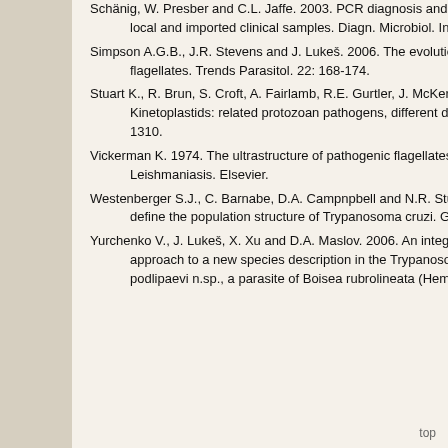Schänig, W. Presber and C.L. Jaffe. 2003. PCR diagnosis and characterization of Leishmania in local and imported clinical samples. Diagn. Microbiol. Infect. Dis. 47: 349-358.
Simpson A.G.B., J.R. Stevens and J. Lukeš. 2006. The evolution and diversity of kinetoplastid flagellates. Trends Parasitol. 22: 168-174.
Stuart K., R. Brun, S. Croft, A. Fairlamb, R.E. Gurtler, J. McKerrow, S. Reed and Tarleton, R. 2008. Kinetoplastids: related protozoan pathogens, different diseases. J. Clin. Invest. 118: 1301-1310.
Vickerman K. 1974. The ultrastructure of pathogenic flagellates. Trypanosomiasis and Leishmaniasis. Elsevier.
Westenberger S.J., C. Barnabe, D.A. Campbell and N.R. Sturm. 2005. Two hybridization events define the population structure of Trypanosoma cruzi. Genetics 171: 527-543.
Yurchenko V., J. Lukeš, X. Xu and D.A. Maslov. 2006. An integrated morphological and molecular approach to a new species description in the Trypanosomatidae: the case of Leptomonas podlipaevi n.sp., a parasite of Boisea rubrolineata (Hemiptera: Rhopalidae). J. Euk.